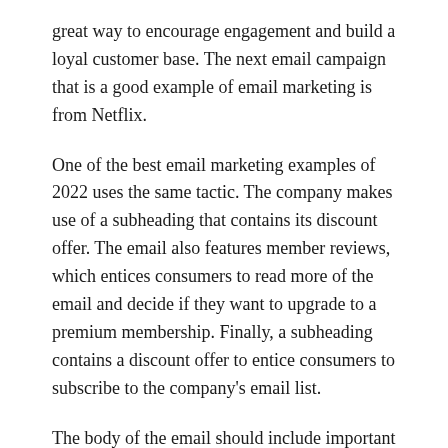great way to encourage engagement and build a loyal customer base. The next email campaign that is a good example of email marketing is from Netflix.
One of the best email marketing examples of 2022 uses the same tactic. The company makes use of a subheading that contains its discount offer. The email also features member reviews, which entices consumers to read more of the email and decide if they want to upgrade to a premium membership. Finally, a subheading contains a discount offer to entice consumers to subscribe to the company's email list.
The body of the email should include important information, like contact information, social icons, and an unsubscribe link. The email should be easy to read and not overly cluttered. A one-column layout is best as it enables it to adapt to varying screen sizes. In addition, a